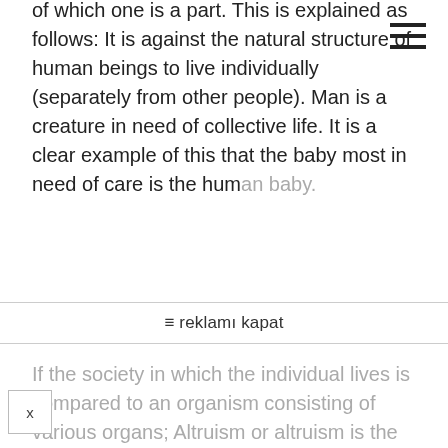of which one is a part. This is explained as follows: It is against the natural structure of human beings to live individually (separately from other people). Man is a creature in need of collective life. It is a clear example of this that the baby most in need of care is the human baby.
≡ reklamı kapat
If the society in which the individual lives is compared to an organism consisting of various organs; Altruism or altruism is the individual's fulfillment of his or her duties in the organism for the benefit of the organism of which he is a part or an organ. Therefore, altruism is not actually giving up one's interests, but rather thinking about one's higher interests. Because a malfunction in the perfect functioning of the organism will reflect on itself and cause some disturbances in it own work.